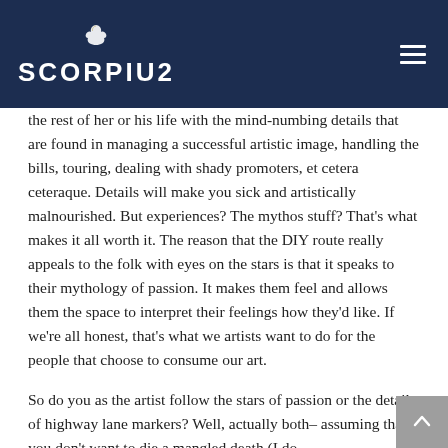SCORPIUS
the rest of her or his life with the mind-numbing details that are found in managing a successful artistic image, handling the bills, touring, dealing with shady promoters, et cetera ceteraque. Details will make you sick and artistically malnourished. But experiences? The mythos stuff? That's what makes it all worth it. The reason that the DIY route really appeals to the folk with eyes on the stars is that it speaks to their mythology of passion. It makes them feel and allows them the space to interpret their feelings how they'd like. If we're all honest, that's what we artists want to do for the people that choose to consume our art.
So do you as the artist follow the stars of passion or the details of highway lane markers? Well, actually both– assuming that you don't want to die a mangled death (I do